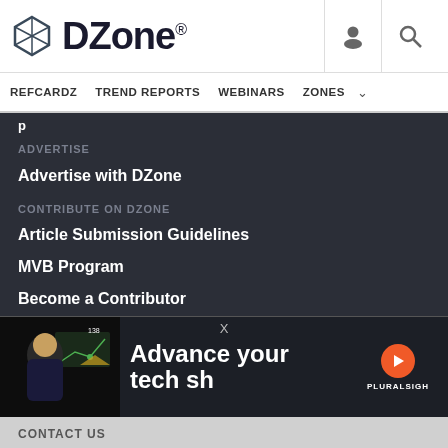DZone
REFCARDZ  TREND REPORTS  WEBINARS  ZONES
(truncated link)
ADVERTISE
Advertise with DZone
CONTRIBUTE ON DZONE
Article Submission Guidelines
MVB Program
Become a Contributor
Visit the Writers' Zone
LE...
Te...
Pri...
[Figure (screenshot): Pluralsight advertisement overlay showing 'Advance your tech sh...' with a thumbnail of a person looking at code charts and Pluralsight logo]
CONTACT US